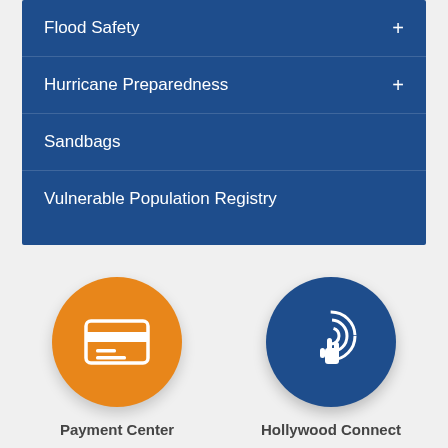Flood Safety
Hurricane Preparedness
Sandbags
Vulnerable Population Registry
[Figure (illustration): Orange circle with white credit card icon, labeled Payment Center]
[Figure (illustration): Dark blue circle with white hand pointer / connect icon, labeled Hollywood Connect]